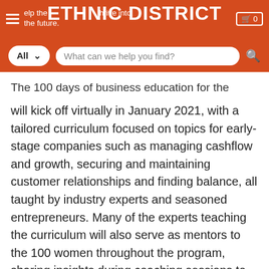ETHNIC DISTRICT
The 100 days of business education for the entrepreneurs will kick off virtually in January 2021, with a tailored curriculum focused on topics for early-stage companies such as managing cashflow and growth, securing and maintaining customer relationships and finding balance, all taught by industry experts and seasoned entrepreneurs. Many of the experts teaching the curriculum will also serve as mentors to the 100 women throughout the program, sharing insights during coaching sessions to help these entrepreneurs navigate business challenges and find the path towards growth.
Other resources for the women include marketing support from American Express to drive awareness of the entrepreneurs and their businesses across a variety of